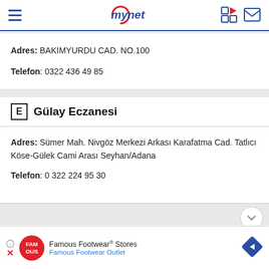mynet
Adres: BAKIMYURDU CAD. NO.100
Telefon: 0322 436 49 85
E Gülay Eczanesi
Adres: Sümer Mah. Nivgöz Merkezi Arkası Karafatma Cad. Tatlıcı Köse-Gülek Cami Arası Seyhan/Adana
Telefon: 0 322 224 95 30
[Figure (infographic): Famous Footwear Stores advertisement banner with red circular logo and blue diamond navigation arrow icon]